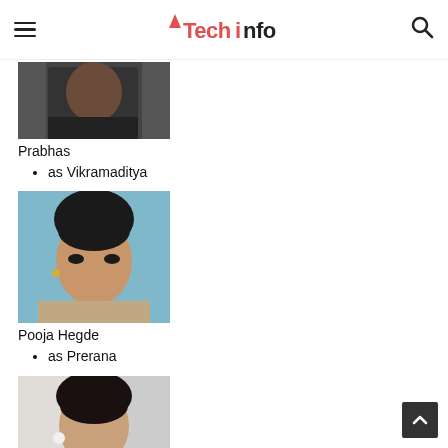Techinfo
[Figure (photo): Partial photo of Prabhas, bottom portion visible, dark background]
Prabhas
as Vikramaditya
[Figure (photo): Photo of Pooja Hegde, woman with dark hair upswept, smoky eye makeup, light blue background]
Pooja Hegde
as Prerana
[Figure (photo): Partial photo of third actress, woman with dark upswept hair, wearing white and teal outfit with earrings]